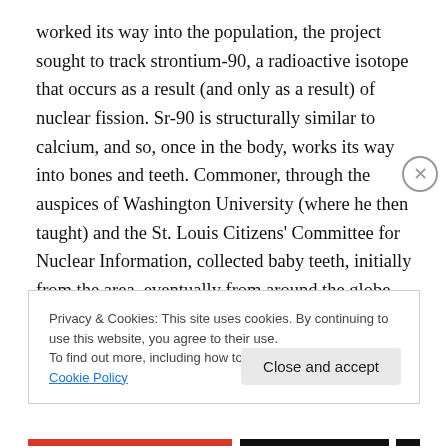worked its way into the population, the project sought to track strontium-90, a radioactive isotope that occurs as a result (and only as a result) of nuclear fission. Sr-90 is structurally similar to calcium, and so, once in the body, works its way into bones and teeth. Commoner, through the auspices of Washington University (where he then taught) and the St. Louis Citizens' Committee for Nuclear Information, collected baby teeth, initially from the area, eventually from around the globe, and analyzed them for strontium.
Privacy & Cookies: This site uses cookies. By continuing to use this website, you agree to their use.
To find out more, including how to control cookies, see here: Cookie Policy